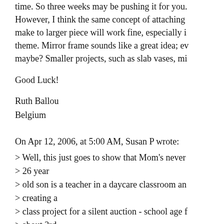time. So three weeks may be pushing it for you. However, I think the same concept of attaching make to larger piece will work fine, especially i theme. Mirror frame sounds like a great idea; ev maybe? Smaller projects, such as slab vases, mi
Good Luck!
Ruth Ballou
Belgium
On Apr 12, 2006, at 5:00 AM, Susan P wrote:
> Well, this just goes to show that Mom's never
> 26 year
> old son is a teacher in a daycare classroom an
> creating a
> class project for a silent auction - school age f
> about 3rd
> - so wide range of abilties. He thought it woul
> - and,
> of course, so do I.
>
> What have you seen that it really awesome inc
> items? I